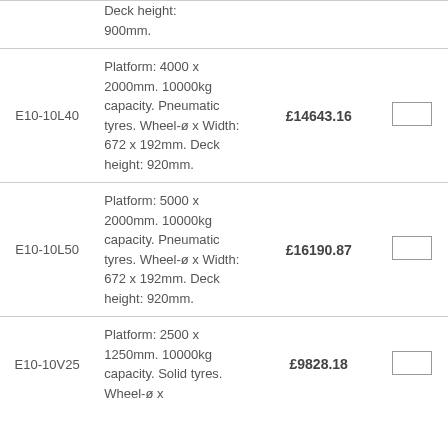| Code | Description | Price |  |
| --- | --- | --- | --- |
|  | Deck height: 900mm. |  |  |
| E10-10L40 | Platform: 4000 x 2000mm. 10000kg capacity. Pneumatic tyres. Wheel-ø x Width: 672 x 192mm. Deck height: 920mm. | £14643.16 |  |
| E10-10L50 | Platform: 5000 x 2000mm. 10000kg capacity. Pneumatic tyres. Wheel-ø x Width: 672 x 192mm. Deck height: 920mm. | £16190.87 |  |
| E10-10V25 | Platform: 2500 x 1250mm. 10000kg capacity. Solid tyres. Wheel-ø x | £9828.18 |  |